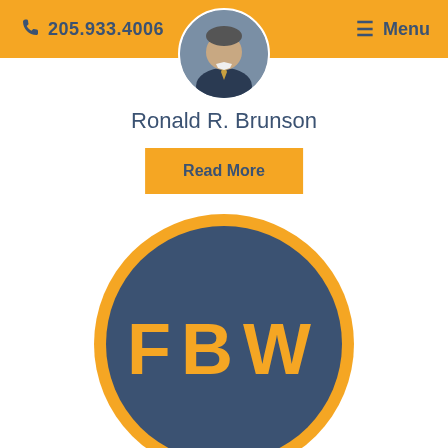205.933.4006  ☰ Menu
[Figure (photo): Circular profile photo of attorney Ronald R. Brunson in a dark suit and tie]
Ronald R. Brunson
Read More
[Figure (logo): FBW law firm circular logo — dark steel blue circle with gold border and gold letters F B W in the center]